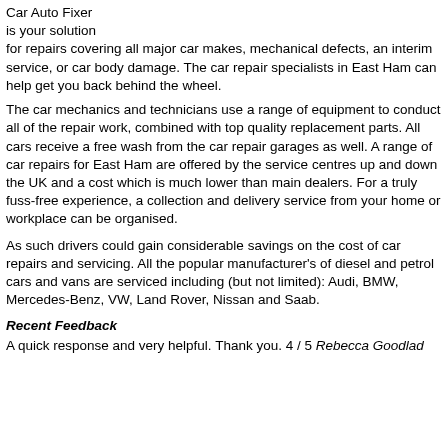Car Auto Fixer is your solution for repairs covering all major car makes, mechanical defects, an interim service, or car body damage. The car repair specialists in East Ham can help get you back behind the wheel.
The car mechanics and technicians use a range of equipment to conduct all of the repair work, combined with top quality replacement parts. All cars receive a free wash from the car repair garages as well. A range of car repairs for East Ham are offered by the service centres up and down the UK and a cost which is much lower than main dealers. For a truly fuss-free experience, a collection and delivery service from your home or workplace can be organised.
As such drivers could gain considerable savings on the cost of car repairs and servicing. All the popular manufacturer's of diesel and petrol cars and vans are serviced including (but not limited): Audi, BMW, Mercedes-Benz, VW, Land Rover, Nissan and Saab.
Recent Feedback
A quick response and very helpful. Thank you. 4 / 5 Rebecca Goodlad